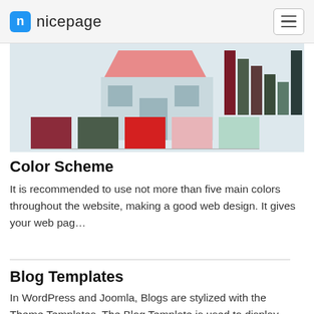nicepage
[Figure (illustration): Color scheme palette showing a storefront illustration with multiple color swatches including dark red, dark green, bright red, light pink, and mint green squares, plus a column chart of dark green/red shades]
Color Scheme
It is recommended to use not more than five main colors throughout the website, making a good web design. It gives your web pag…
Blog Templates
In WordPress and Joomla, Blogs are stylized with the Theme Templates. The Blog Template is used to display briefs of sever…
[Figure (screenshot): Partial bottom strip showing beginning of Ecommerce Templates section thumbnail]